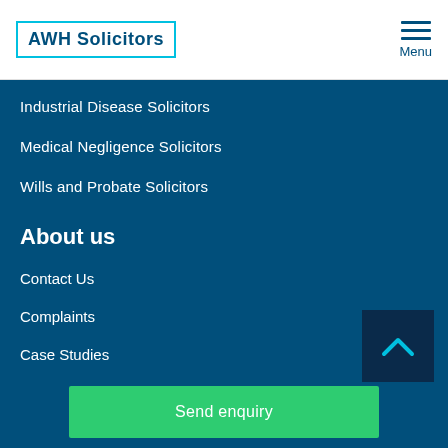AWH Solicitors | Menu
Industrial Disease Solicitors
Medical Negligence Solicitors
Wills and Probate Solicitors
About us
Contact Us
Complaints
Case Studies
Send enquiry